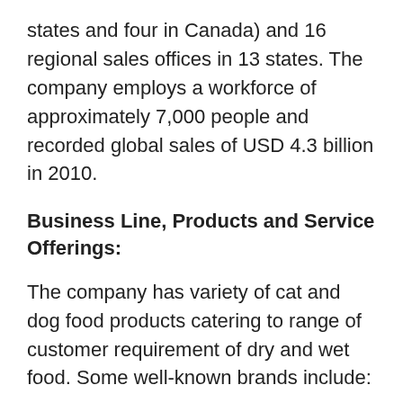states and four in Canada) and 16 regional sales offices in 13 states. The company employs a workforce of approximately 7,000 people and recorded global sales of USD 4.3 billion in 2010.
Business Line, Products and Service Offerings:
The company has variety of cat and dog food products catering to range of customer requirement of dry and wet food. Some well-known brands include:
1. Alpo – dog food
2. Arthurs – cat food, UK only